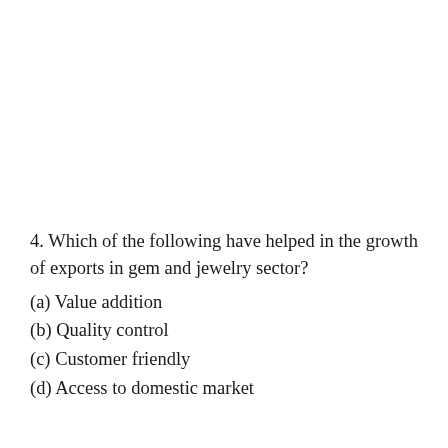4. Which of the following have helped in the growth of exports in gem and jewelry sector?
(a) Value addition
(b) Quality control
(c) Customer friendly
(d) Access to domestic market